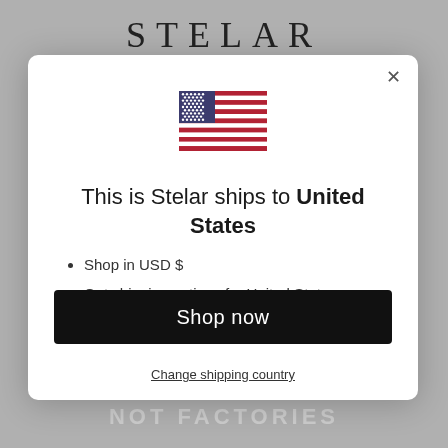STELAR
[Figure (illustration): US flag emoji/illustration centered in modal]
This is Stelar ships to United States
Shop in USD $
Get shipping options for United States
Shop now
Change shipping country
NOT FACTORIES